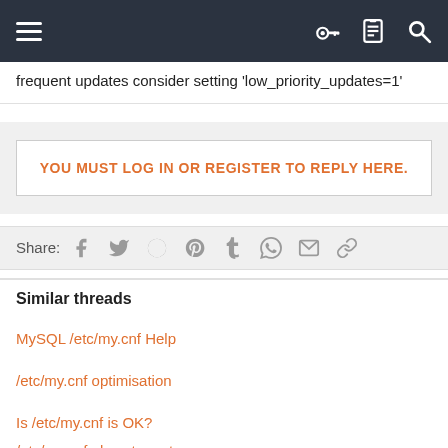Navigation bar with menu, key, list, and search icons
frequent updates consider setting 'low_priority_updates=1'
YOU MUST LOG IN OR REGISTER TO REPLY HERE.
Share:
Similar threads
MySQL /etc/my.cnf Help
/etc/my.cnf optimisation
Is /etc/my.cnf is OK?
/etc/my.cnf almost empty on new server